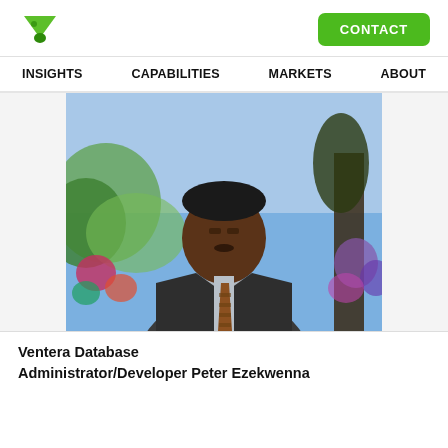INSIGHTS  CAPABILITIES  MARKETS  ABOUT
[Figure (photo): Professional headshot of Peter Ezekwenna wearing a dark suit and patterned tie, seated in front of a colorful painted background depicting a garden scene.]
Ventera Database Administrator/Developer Peter Ezekwenna